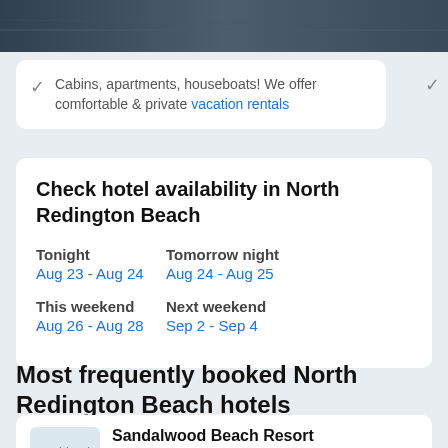[Figure (photo): Top banner photo of a hotel room or beach resort, dark toned]
Cabins, apartments, houseboats! We offer comfortable & private vacation rentals
Check hotel availability in North Redington Beach
Tonight
Aug 23 - Aug 24
Tomorrow night
Aug 24 - Aug 25
This weekend
Aug 26 - Aug 28
Next weekend
Sep 2 - Sep 4
Most frequently booked North Redington Beach hotels
Sandalwood Beach Resort